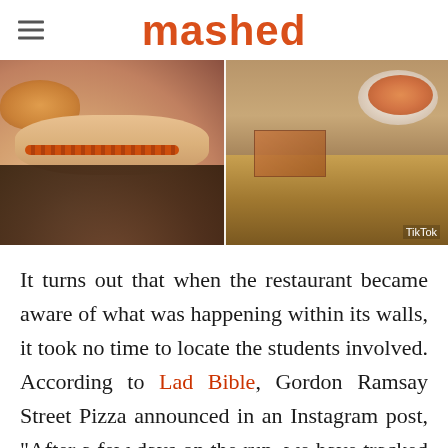mashed
[Figure (photo): Two-panel image side by side: left panel shows a close-up of a person's wrist with a red/orange beaded bracelet reaching for food, wearing a patterned sleeve; right panel shows a table with a plate of pizza and a food box. TikTok watermark in bottom right.]
It turns out that when the restaurant became aware of what was happening within its walls, it took no time to locate the students involved. According to Lad Bible, Gordon Ramsay Street Pizza announced in an Instagram post, "After a few days on the run, we have tracked down our suspects." A picture of the students was displayed alongside the words, "Last seen taking advantage